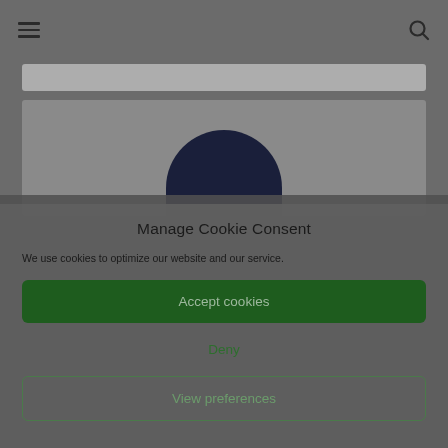[Figure (screenshot): Website header with hamburger menu icon on the left and search icon on the right, on a grey background]
[Figure (photo): Blurred background image showing top of a person's head (dark hair) against a grey rectangle]
Manage Cookie Consent
We use cookies to optimize our website and our service.
Accept cookies
Deny
View preferences